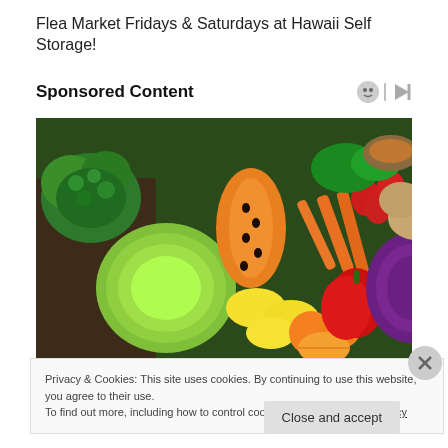Flea Market Fridays & Saturdays at Hawaii Self Storage!
Sponsored Content
[Figure (photo): Colorful array of fresh fruits and vegetables including broccoli, cabbage, papaya, lemons, oranges, carrots, strawberries, red peppers, red cabbage and other produce arranged in a rainbow pattern]
Privacy & Cookies: This site uses cookies. By continuing to use this website, you agree to their use.
To find out more, including how to control cookies, see here: Cookie Policy